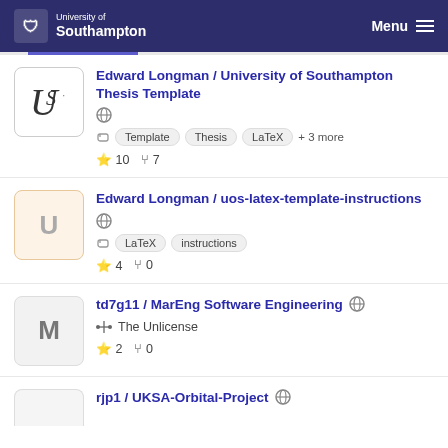University of Southampton — Menu
Edward Longman / University of Southampton Thesis Template
🌐  Template  Thesis  LaTeX  + 3 more
★ 10  ⑂ 7
Edward Longman / uos-latex-template-instructions
🌐  LaTeX  instructions
★ 4  ⑂ 0
td7g11 / MarEng Software Engineering 🌐
⚖ The Unlicense
★ 2  ⑂ 0
rjp1 / UKSA-Orbital-Project 🌐